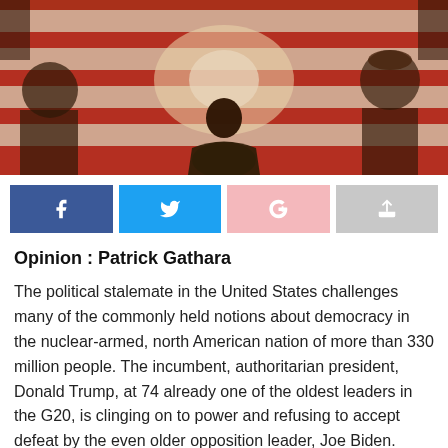[Figure (photo): Person in camouflage clothing seen from behind, facing a large American flag being held up by a crowd outdoors, backlit by sunlight.]
Opinion : Patrick Gathara
The political stalemate in the United States challenges many of the commonly held notions about democracy in the nuclear-armed, north American nation of more than 330 million people. The incumbent, authoritarian president, Donald Trump, at 74 already one of the oldest leaders in the G20, is clinging on to power and refusing to accept defeat by the even older opposition leader, Joe Biden.